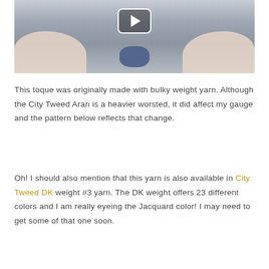[Figure (photo): Photo showing two hands holding a piece of dark blue knitted/crocheted fabric, with a video play button overlay in the upper center]
This toque was originally made with bulky weight yarn. Although the City Tweed Aran is a heavier worsted, it did affect my gauge and the pattern below reflects that change.
Oh! I should also mention that this yarn is also available in City Tweed DK weight #3 yarn. The DK weight offers 23 different colors and I am really eyeing the Jacquard color! I may need to get some of that one soon.